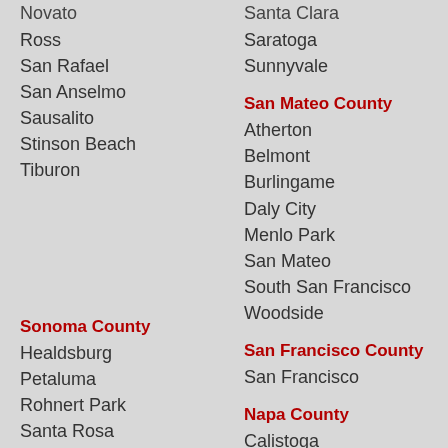Novato
Ross
San Rafael
San Anselmo
Sausalito
Stinson Beach
Tiburon
Sonoma County
Healdsburg
Petaluma
Rohnert Park
Santa Rosa
Santa Clara
Saratoga
Sunnyvale
San Mateo County
Atherton
Belmont
Burlingame
Daly City
Menlo Park
San Mateo
South San Francisco
Woodside
San Francisco County
San Francisco
Napa County
Calistoga
Napa